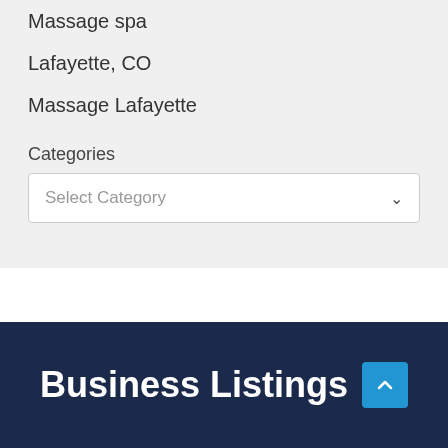Massage spa
Lafayette, CO
Massage Lafayette
Categories
Select Category
Business Listings